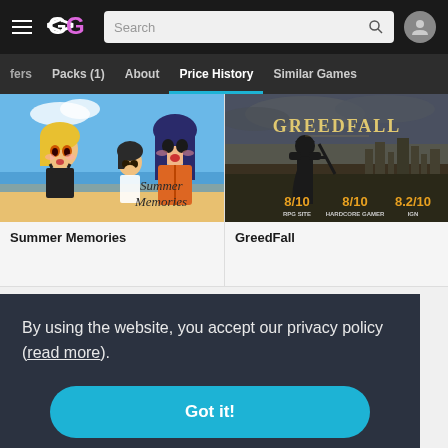Navigation bar with hamburger menu, GG logo, search box, and user icon
Tabs: fers | Packs (1) | About | Price History (active) | Similar Games
[Figure (screenshot): Summer Memories anime game card with illustrated anime characters and title overlay]
Summer Memories
[Figure (screenshot): GreedFall game card showing warrior silhouette with ratings: 8/10 RPG SITE, 8/10 HARDCORE GAMER, 8.2/10 IGN]
GreedFall
By using the website, you accept our privacy policy (read more).
Got it!